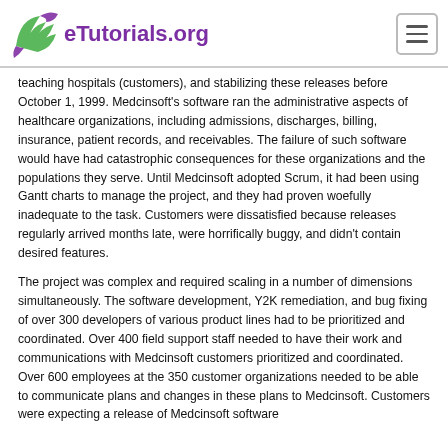eTutorials.org
teaching hospitals (customers), and stabilizing these releases before October 1, 1999. Medcinsoft's software ran the administrative aspects of healthcare organizations, including admissions, discharges, billing, insurance, patient records, and receivables. The failure of such software would have had catastrophic consequences for these organizations and the populations they serve. Until Medcinsoft adopted Scrum, it had been using Gantt charts to manage the project, and they had proven woefully inadequate to the task. Customers were dissatisfied because releases regularly arrived months late, were horrifically buggy, and didn't contain desired features.
The project was complex and required scaling in a number of dimensions simultaneously. The software development, Y2K remediation, and bug fixing of over 300 developers of various product lines had to be prioritized and coordinated. Over 400 field support staff needed to have their work and communications with Medcinsoft customers prioritized and coordinated. Over 600 employees at the 350 customer organizations needed to be able to communicate plans and changes in these plans to Medcinsoft. Customers were expecting a release of Medcinsoft software